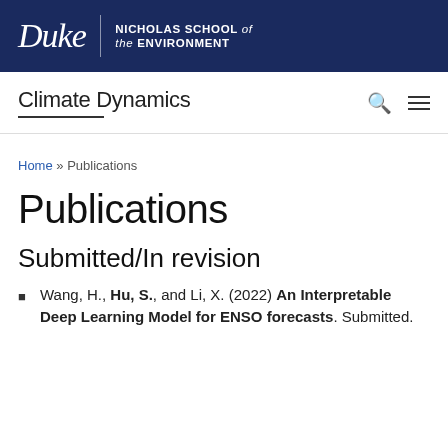Duke | NICHOLAS SCHOOL of the ENVIRONMENT
Climate Dynamics
Home » Publications
Publications
Submitted/In revision
Wang, H., Hu, S., and Li, X. (2022) An Interpretable Deep Learning Model for ENSO forecasts. Submitted.